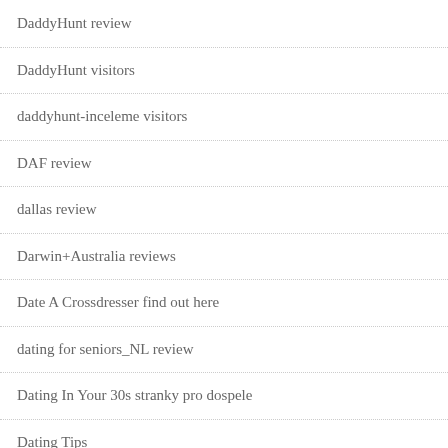DaddyHunt review
DaddyHunt visitors
daddyhunt-inceleme visitors
DAF review
dallas review
Darwin+Australia reviews
Date A Crossdresser find out here
dating for seniors_NL review
Dating In Your 30s stranky pro dospele
Dating Tips